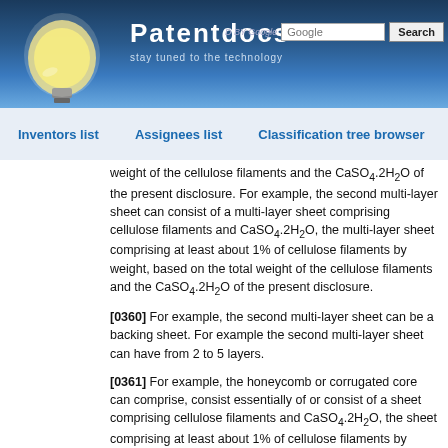[Figure (logo): Patentdocs website header with light bulb logo, site name 'Patentdocs', tagline 'stay tuned to the technology', and Google search bar]
Inventors list   Assignees list   Classification tree browser
weight of the cellulose filaments and the CaSO4.2H2O of the present disclosure. For example, the second multi-layer sheet can consist of a multi-layer sheet comprising cellulose filaments and CaSO4.2H2O, the multi-layer sheet comprising at least about 1% of cellulose filaments by weight, based on the total weight of the cellulose filaments and the CaSO4.2H2O of the present disclosure.
[0360] For example, the second multi-layer sheet can be a backing sheet. For example the second multi-layer sheet can have from 2 to 5 layers.
[0361] For example, the honeycomb or corrugated core can comprise, consist essentially of or consist of a sheet comprising cellulose filaments and CaSO4.2H2O, the sheet comprising at least about 1% of cellulose filaments by weight, based on the total weight of the cellulose filaments and the CaSO4.2H2O of the present disclosure. For example, the honeycomb or corrugated core can comprise a sheet comprising cellulose filaments